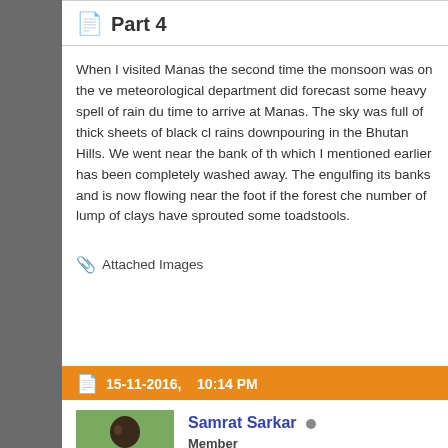Part 4
When I visited Manas the second time the monsoon was on the ve meteorological department did forecast some heavy spell of rain du time to arrive at Manas. The sky was full of thick sheets of black cl rains downpouring in the Bhutan Hills. We went near the bank of th which I mentioned earlier has been completely washed away. The engulfing its banks and is now flowing near the foot if the forest che number of lump of clays have sprouted some toadstools.
📎 Attached Images
http://www.boisabirds.wordpress.com
15-11-2016,    10:14 PM
Samrat Sarkar
Member